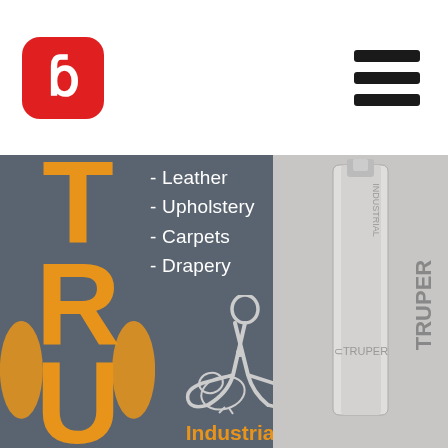[Figure (logo): Red rounded square badge with white letter B inside, top-left corner]
[Figure (logo): Hamburger menu icon (three horizontal black bars), top-right corner]
[Figure (illustration): Truper brand product page screenshot showing orange TRU logo on dark grey background with list: Leather, Upholstery, Carpets, Drapery; scissors illustration cutting a chicken; Spanish/English text 'Industria alimenticia / Food industry'; right side shows greyscale photo of scissors with TRUPER INDUSTRIAL branding]
- Leather
- Upholstery
- Carpets
- Drapery
Industria alimenticia
Food industry